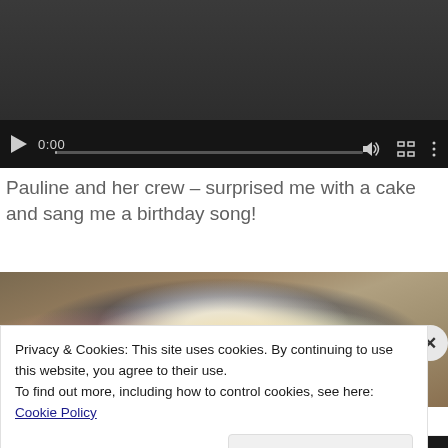[Figure (screenshot): Video player with dark background showing playback controls: play button, time display 0:00, progress bar, volume icon, fullscreen icon, and more options icon.]
Pauline and her crew – surprised me with a cake and sang me a birthday song!
[Figure (photo): Close-up photo of a dessert plate with whipped cream, cake, and garnish on a dark rimmed bowl, with wooden table visible.]
Privacy & Cookies: This site uses cookies. By continuing to use this website, you agree to their use.
To find out more, including how to control cookies, see here: Cookie Policy
Close and accept